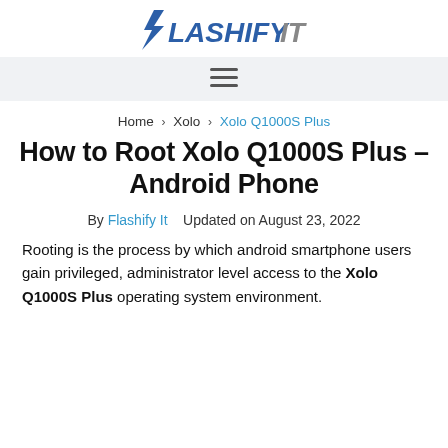Flashify It
≡ (navigation menu)
Home > Xolo > Xolo Q1000S Plus
How to Root Xolo Q1000S Plus – Android Phone
By Flashify It   Updated on August 23, 2022
Rooting is the process by which android smartphone users gain privileged, administrator level access to the Xolo Q1000S Plus operating system environment.